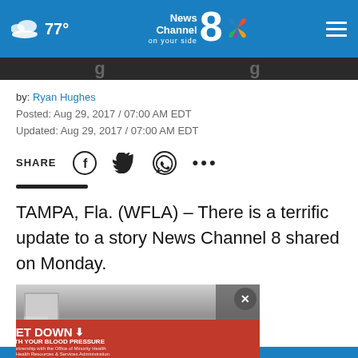[Figure (screenshot): News Channel 8 website header bar with blue background, weather icon, 77° temperature, News Channel 8 NBC logo, and hamburger menu icon]
[Figure (screenshot): Dark banner strip below header with partial text visible]
by: Ryan Hughes
Posted: Aug 29, 2017 / 07:00 AM EDT
Updated: Aug 29, 2017 / 07:00 AM EDT
[Figure (screenshot): Share bar with SHARE label, Facebook, Twitter, WhatsApp icons, and more options dots]
TAMPA, Fla. (WFLA) – There is a terrific update to a story News Channel 8 shared on Monday.
[Figure (photo): Photo of indoor scene with equipment visible, partially obscured by advertisement banner. Ad banner reads GET DOWN WITH YOUR BLOOD PRESSURE with Act Now button and health organization logos.]